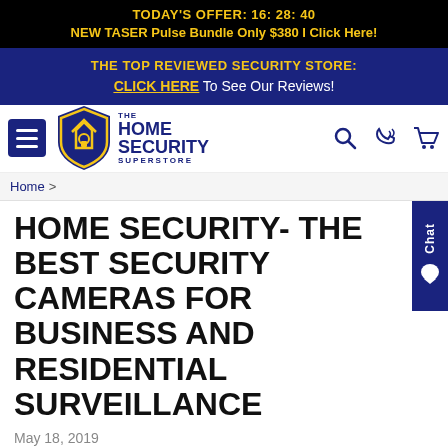TODAY'S OFFER: 16: 28: 40
NEW TASER Pulse Bundle Only $380 I Click Here!
THE TOP REVIEWED SECURITY STORE:
CLICK HERE To See Our Reviews!
[Figure (logo): The Home Security Superstore logo with shield icon and navigation icons]
Home >
HOME SECURITY- THE BEST SECURITY CAMERAS FOR BUSINESS AND RESIDENTIAL SURVEILLANCE
May 18, 2019
More homeowners are becoming security conscious these days as the number of burglaries and home invasions increase. After all, a burglar does not want to get caught,